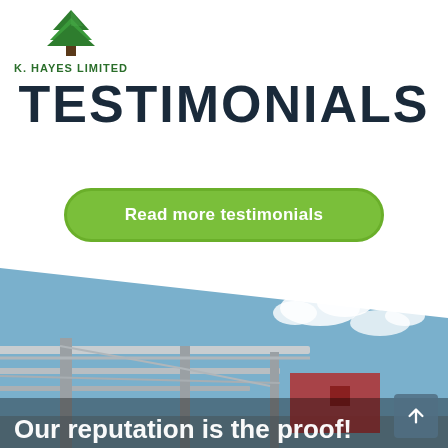[Figure (logo): K. Hayes Limited logo with green tree icon and company name below]
TESTIMONIALS
Read more testimonials
[Figure (photo): Photo of a steel structure canopy/pergola with blue sky background and red building partially visible. Text overlay reads: Our reputation is the proof!]